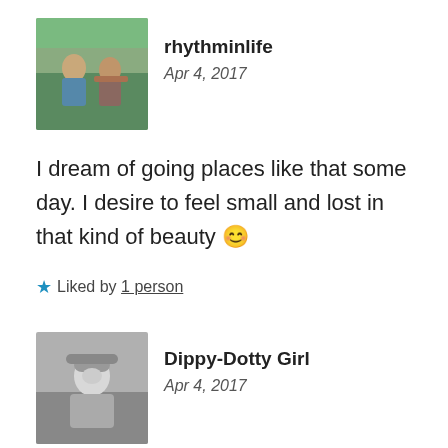[Figure (photo): Avatar photo of rhythminlife user showing two people outdoors with green foliage background]
rhythminlife
Apr 4, 2017
I dream of going places like that some day. I desire to feel small and lost in that kind of beauty 😊
★ Liked by 1 person
[Figure (photo): Avatar photo of Dippy-Dotty Girl user showing a young girl in black and white photo]
Dippy-Dotty Girl
Apr 4, 2017
That is a wholesome thought. Some day may you make your way to these very places and others and immerse yourself